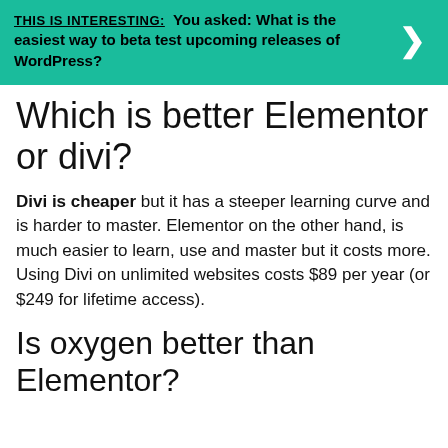[Figure (infographic): Green banner with text 'THIS IS INTERESTING: You asked: What is the easiest way to beta test upcoming releases of WordPress?' and a white right-arrow chevron on the right side]
Which is better Elementor or divi?
Divi is cheaper but it has a steeper learning curve and is harder to master. Elementor on the other hand, is much easier to learn, use and master but it costs more. Using Divi on unlimited websites costs $89 per year (or $249 for lifetime access).
Is oxygen better than Elementor?